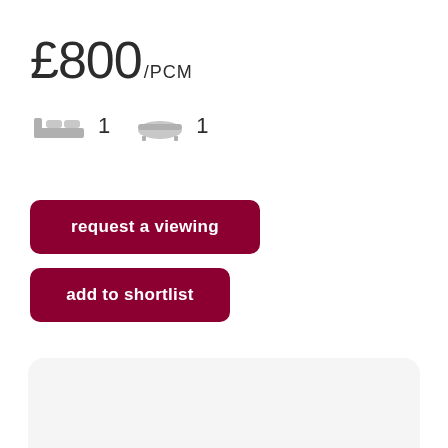£800/PCM
[Figure (infographic): Bed icon with count 1 and bath icon with count 1]
request a viewing
add to shortlist
[Figure (other): Light grey rounded card panel at the bottom of the page]